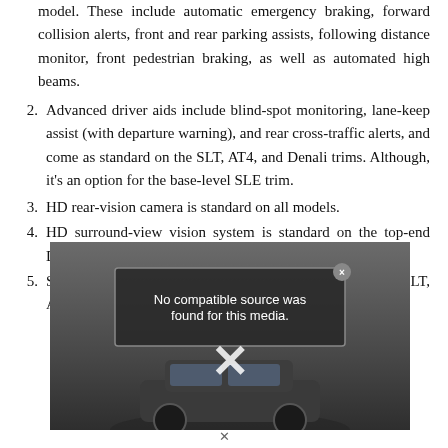(continuation) model. These include automatic emergency braking, forward collision alerts, front and rear parking assists, following distance monitor, front pedestrian braking, as well as automated high beams.
2. Advanced driver aids include blind-spot monitoring, lane-keep assist (with departure warning), and rear cross-traffic alerts, and come as standard on the SLT, AT4, and Denali trims. Although, it's an option for the base-level SLE trim.
3. HD rear-vision camera is standard on all models.
4. HD surround-view vision system is standard on the top-end Denali but is optional for the SLT and AT4.
5. Safety alerts for the rear seats are standard fitment for the SLT, AT4, and Denali.
[Figure (screenshot): Video player overlay showing a car (SUV) with an error message 'No compatible source was found for this media.' and a large X/close icon.]